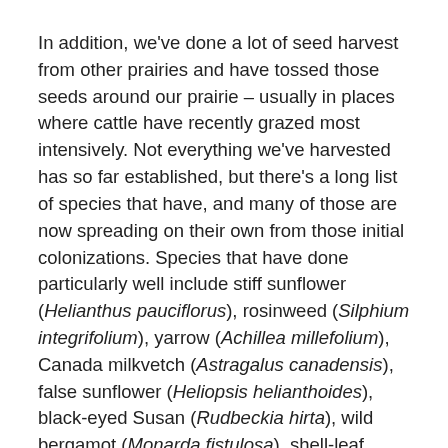In addition, we've done a lot of seed harvest from other prairies and have tossed those seeds around our prairie – usually in places where cattle have recently grazed most intensively. Not everything we've harvested has so far established, but there's a long list of species that have, and many of those are now spreading on their own from those initial colonizations. Species that have done particularly well include stiff sunflower (Helianthus pauciflorus), rosinweed (Silphium integrifolium), yarrow (Achillea millefolium), Canada milkvetch (Astragalus canadensis), false sunflower (Heliopsis helianthoides), black-eyed Susan (Rudbeckia hirta), wild bergamot (Monarda fistulosa), shell-leaf penstemon (Penstemon grandiflorus), and pitcher sage (Salvia azurea).
Some of today's wildflower diversity probably arrived on its